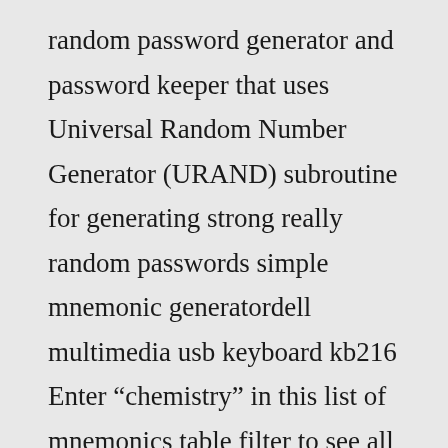random password generator and password keeper that uses Universal Random Number Generator (URAND) subroutine for generating strong really random passwords simple mnemonic generatordell multimedia usb keyboard kb216 Enter “chemistry” in this list of mnemonics table filter to see all chemistry mnemonics Welcome to the Random Phrase and Idiom Generator Map the resulting bits onto your word list Just